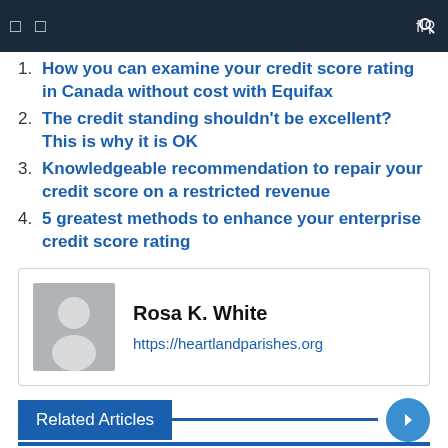Navigation bar
How you can examine your credit score rating in Canada without cost with Equifax
The credit standing shouldn't be excellent? This is why it is OK
Knowledgeable recommendation to repair your credit score on a restricted revenue
5 greatest methods to enhance your enterprise credit score rating
Rosa K. White
https://heartlandparishes.org
Related Articles